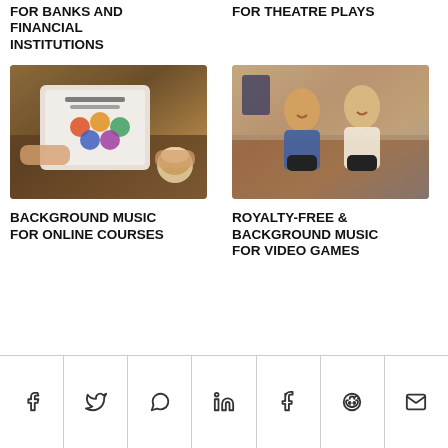FOR BANKS AND FINANCIAL INSTITUTIONS
FOR THEATRE PLAYS
[Figure (photo): Person holding tablet with marketing strategy book, coffee in background]
[Figure (photo): Couple smiling and holding game controllers on a couch]
BACKGROUND MUSIC FOR ONLINE COURSES
ROYALTY-FREE & BACKGROUND MUSIC FOR VIDEO GAMES
[Figure (infographic): Social share bar with icons: Facebook, Twitter, WhatsApp, LinkedIn, Tumblr, Reddit, Email]